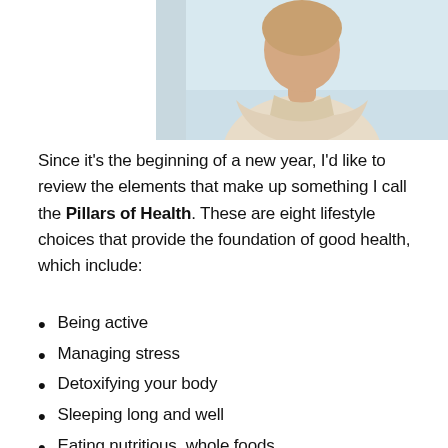[Figure (photo): Person with arms crossed, wearing a light-colored sweater, upper body visible against a light background]
Since it's the beginning of a new year, I'd like to review the elements that make up something I call the Pillars of Health. These are eight lifestyle choices that provide the foundation of good health, which include:
Being active
Managing stress
Detoxifying your body
Sleeping long and well
Eating nutritious, whole foods
Drinking pure, filtered water